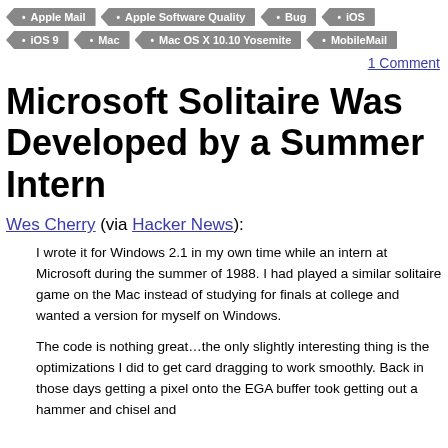Apple Mail
Apple Software Quality
Bug
iOS
iOS 9
Mac
Mac OS X 10.10 Yosemite
MobileMail
1 Comment
Microsoft Solitaire Was Developed by a Summer Intern
Wes Cherry (via Hacker News):
I wrote it for Windows 2.1 in my own time while an intern at Microsoft during the summer of 1988. I had played a similar solitaire game on the Mac instead of studying for finals at college and wanted a version for myself on Windows.
The code is nothing great…the only slightly interesting thing is the optimizations I did to get card dragging to work smoothly. Back in those days getting a pixel onto the EGA buffer took getting out a hammer and chisel and